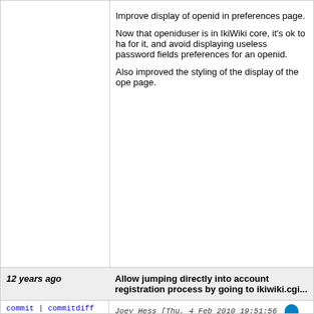Improve display of openid in preferences page.

Now that openiduser is in IkiWiki core, it's ok to ha for it, and avoid displaying useless password fields preferences for an openid.

Also improved the styling of the display of the ope page.
12 years ago   Allow jumping directly into account registration process by going to ikiwiki.cgi...
commit | commitdiff | tree   Joey Hess [Thu, 4 Feb 2010 19:51:56 +0000 (14:51 -0500)]
Allow jumping directly into account registration pro do=register
12 years ago   signature
commit | commitdiff | tree   Javier Rojas [Thu, 4 Feb 2010 03:48:15 +0000 (22:48 -0500)]
signature
12 years ago   new forum post